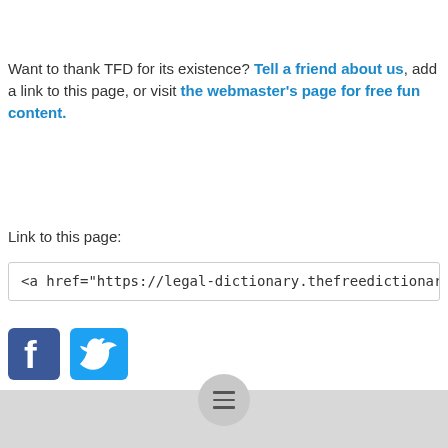Want to thank TFD for its existence? Tell a friend about us, add a link to this page, or visit the webmaster's page for free fun content.
Link to this page:
<a href="https://legal-dictionary.thefreedictionary.com/Declare">Declare<...
[Figure (logo): Facebook and Twitter social media icons]